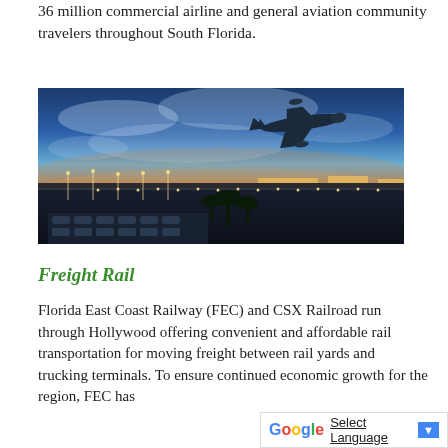36 million commercial airline and general aviation community travelers throughout South Florida.
[Figure (photo): Aerial photograph of an airport at dusk/night showing a commercial airplane in flight against a blue sky, with airport tarmac, palm trees, parking lots, and city lights visible below.]
Freight Rail
Florida East Coast Railway (FEC) and CSX Railroad run through Hollywood offering convenient and affordable rail transportation for moving freight between rail yards and trucking terminals. To ensure continued economic growth for the region, FEC has